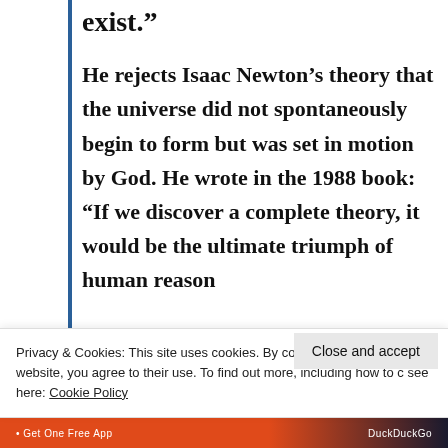exist.”
He rejects Isaac Newton’s theory that the universe did not spontaneously begin to form but was set in motion by God. He wrote in the 1988 book: “If we discover a complete theory, it would be the ultimate triumph of human reason
for then we should know the mind of
Privacy & Cookies: This site uses cookies. By continuing to use this website, you agree to their use. To find out more, including how to c see here: Cookie Policy
Close and accept